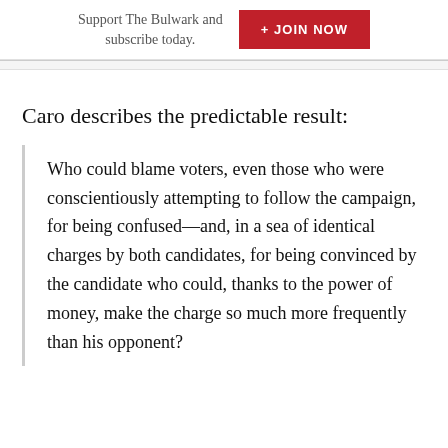Support The Bulwark and subscribe today. + JOIN NOW
Caro describes the predictable result:
Who could blame voters, even those who were conscientiously attempting to follow the campaign, for being confused—and, in a sea of identical charges by both candidates, for being convinced by the candidate who could, thanks to the power of money, make the charge so much more frequently than his opponent?